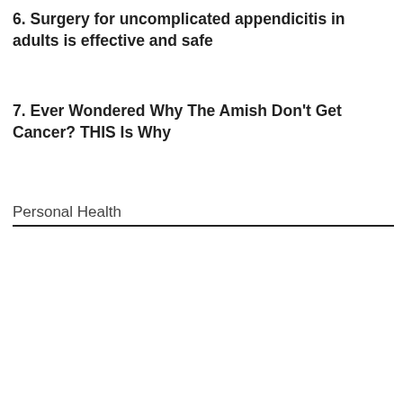6. Surgery for uncomplicated appendicitis in adults is effective and safe
7. Ever Wondered Why The Amish Don't Get Cancer? THIS Is Why
Personal Health